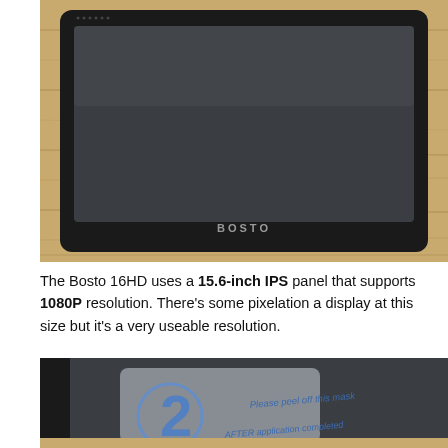[Figure (photo): Photo of a Bosto 16HD drawing tablet with a black frame and dark screen, placed on a wooden surface. The word BOSTO is visible on the bottom bezel.]
The Bosto 16HD uses a 15.6-inch IPS panel that supports 1080P resolution. There's some pixelation a display at this size but it's a very useable resolution.
[Figure (photo): Close-up photo of the Bosto tablet screen with a protective film/mask on it. The mask has a large number 2 and text reading 'Please peel off this mask' and 'AFTER application completed'.]